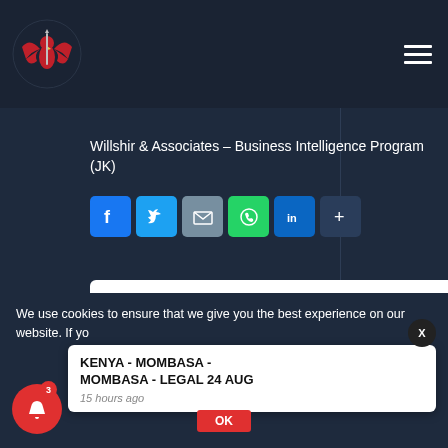Willshir & Associates – Business Intelligence Program (JK)
Willshir & Associates – Business Intelligence Program (JK)
[Figure (logo): Willshir & Associates eagle logo in red on dark background]
ADD TO CALENDAR
We use cookies to ensure that we give you the best experience on our website. If yo
KENYA - MOMBASA - MOMBASA - LEGAL 24 AUG
15 hours ago